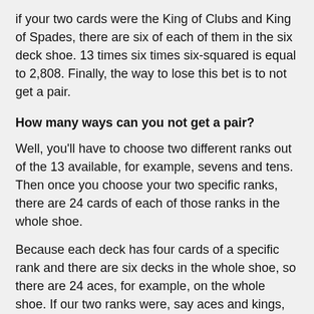if your two cards were the King of Clubs and King of Spades, there are six of each of them in the six deck shoe. 13 times six times six-squared is equal to 2,808. Finally, the way to lose this bet is to not get a pair.
How many ways can you not get a pair?
Well, you'll have to choose two different ranks out of the 13 available, for example, sevens and tens. Then once you choose your two specific ranks, there are 24 cards of each of those ranks in the whole shoe.
Because each deck has four cards of a specific rank and there are six decks in the whole shoe, so there are 24 aces, for example, on the whole shoe. If our two ranks were, say aces and kings, there are 24 aces and 24 kings.
You pick one out of each of those groups.
13 choose two is, 78 times 24-squared, is equal to 44,928,